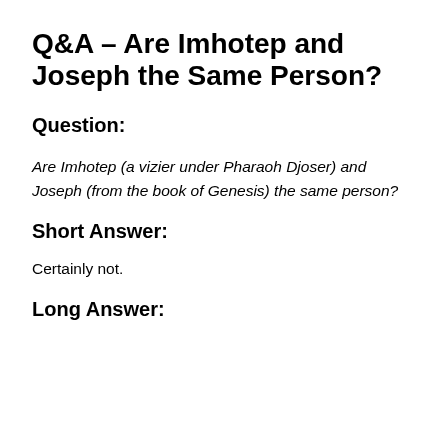Q&A – Are Imhotep and Joseph the Same Person?
Question:
Are Imhotep (a vizier under Pharaoh Djoser) and Joseph (from the book of Genesis) the same person?
Short Answer:
Certainly not.
Long Answer: